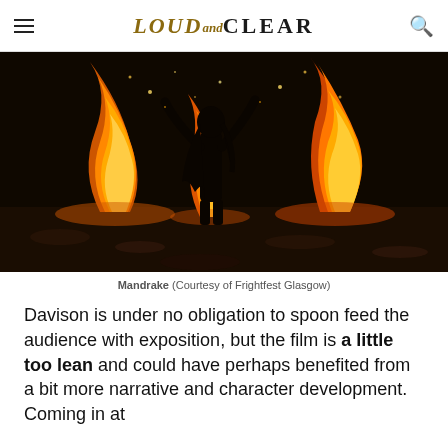LOUD and CLEAR
[Figure (photo): A person standing with arms raised in front of large flames at night, dark background with fire illuminating the scene.]
Mandrake (Courtesy of Frightfest Glasgow)
Davison is under no obligation to spoon feed the audience with exposition, but the film is a little too lean and could have perhaps benefited from a bit more narrative and character development. Coming in at